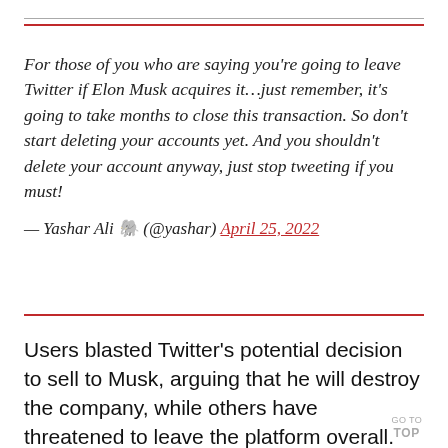For those of you who are saying you're going to leave Twitter if Elon Musk acquires it…just remember, it's going to take months to close this transaction. So don't start deleting your accounts yet. And you shouldn't delete your account anyway, just stop tweeting if you must!
— Yashar Ali 🐘 (@yashar) April 25, 2022
Users blasted Twitter's potential decision to sell to Musk, arguing that he will destroy the company, while others have threatened to leave the platform overall.